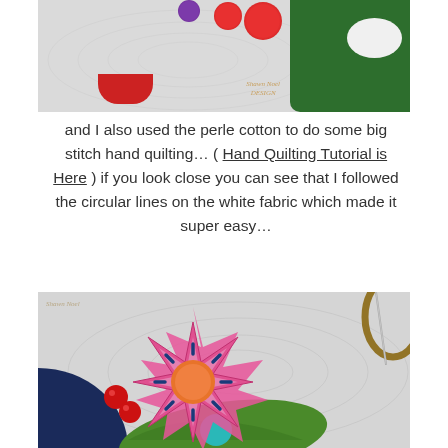[Figure (photo): Close-up photo of a quilt with white fabric showing circular quilting lines, red pompoms, purple element, green felt pieces with white oval, and a red stocking at the bottom. Watermark reads 'Shawn Noel DESIGN'.]
and I also used the perle cotton to do some big stitch hand quilting… ( Hand Quilting Tutorial is Here ) if you look close you can see that I followed the circular lines on the white fabric which made it super easy…
[Figure (photo): Close-up photo of a quilt showing a colorful star-shaped applique flower with orange center circle, dark blue stitch details, on white quilted fabric. Green leaf applique at the bottom with a teal circle. Dark navy fabric and red cherry appliques visible on the left. A quilting hoop and needle visible at top right.]